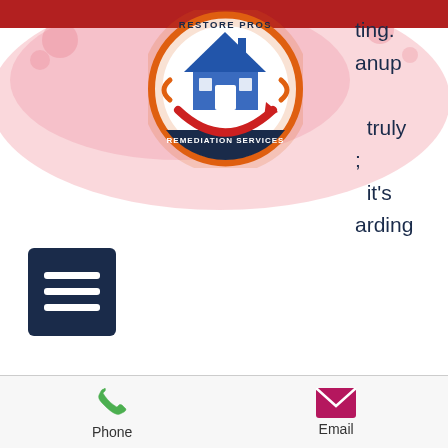[Figure (logo): Restore Pros Remediation Services circular logo with house icon]
ting.
anup
truly
;
it's
arding
[Figure (other): Dark navy hamburger menu button icon with three horizontal lines]
careless. It's the opposite of those things.
When you need reputable Thibodaux hoarding cleaning services, no other company can even touch RestorePros Remediation Services. Living a life that's a total mess can do a number on your happiness and productivity. People who are tired of feeling trapped by their hoarding habits should seek cleaning
Phone   Email